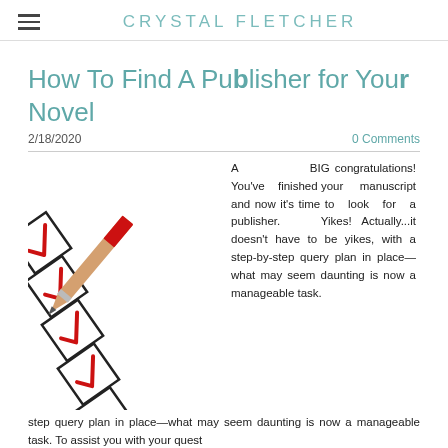CRYSTAL FLETCHER
How To Find A Publisher for Your Novel
2/18/2020
0 Comments
[Figure (illustration): Checklist with red checkmarks and a red pencil pointing at the bottom checkbox]
A BIG congratulations! You've finished your manuscript and now it's time to look for a publisher. Yikes! Actually...it doesn't have to be yikes, with a step-by-step query plan in place—what may seem daunting is now a manageable task. To assist you with your quest